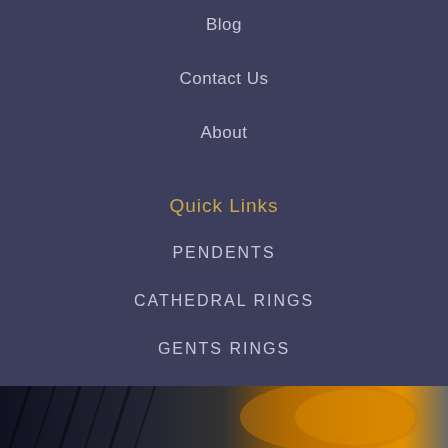Blog
Contact Us
About
Quick Links
PENDENTS
CATHEDRAL RINGS
GENTS RINGS
EARINGS
BRACELETS
[Figure (photo): Dark background photo with orange/yellow tones at the bottom of the page]